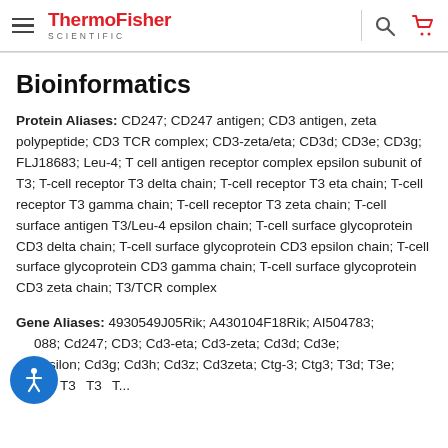ThermoFisher SCIENTIFIC
Bioinformatics
Protein Aliases: CD247; CD247 antigen; CD3 antigen, zeta polypeptide; CD3 TCR complex; CD3-zeta/eta; CD3d; CD3e; CD3g; FLJ18683; Leu-4; T cell antigen receptor complex epsilon subunit of T3; T-cell receptor T3 delta chain; T-cell receptor T3 eta chain; T-cell receptor T3 gamma chain; T-cell receptor T3 zeta chain; T-cell surface antigen T3/Leu-4 epsilon chain; T-cell surface glycoprotein CD3 delta chain; T-cell surface glycoprotein CD3 epsilon chain; T-cell surface glycoprotein CD3 gamma chain; T-cell surface glycoprotein CD3 zeta chain; T3/TCR complex
Gene Aliases: 4930549J05Rik; A430104F18Rik; AI504783; 088; Cd247; CD3; Cd3-eta; Cd3-zeta; Cd3d; Cd3e; epsilon; Cd3g; Cd3h; Cd3z; Cd3zeta; Ctg-3; Ctg3; T3d; T3e; T3...